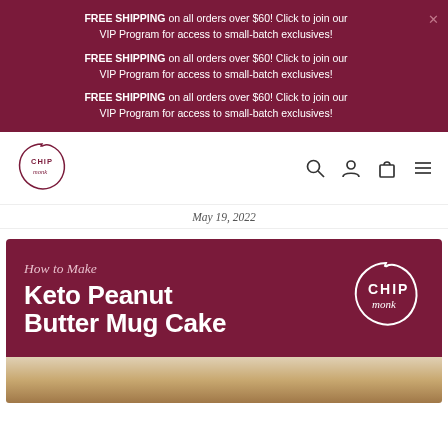FREE SHIPPING on all orders over $60! Click to join our VIP Program for access to small-batch exclusives!
FREE SHIPPING on all orders over $60! Click to join our VIP Program for access to small-batch exclusives!
FREE SHIPPING on all orders over $60! Click to join our VIP Program for access to small-batch exclusives!
[Figure (logo): ChipMonk logo - circular badge with 'CHIP monk' text inside a cookie-bite shaped circle]
[Figure (infographic): Navigation bar icons: search magnifier, user/person icon, shopping bag icon, hamburger menu icon]
May 19, 2022
[Figure (infographic): Hero card with dark maroon background. Text reads 'How to Make' in italic and 'Keto Peanut Butter Mug Cake' in large bold white text. ChipMonk logo circle on the right.]
[Figure (photo): Partial photo of mug cake food item at bottom of page]